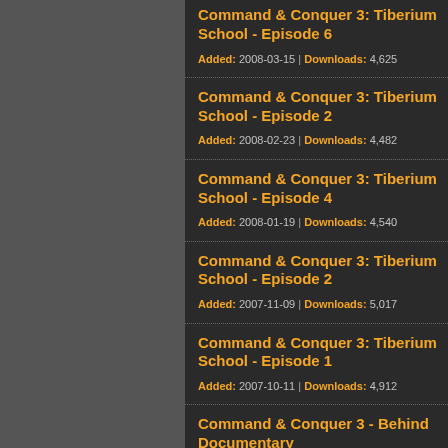Command & Conquer 3: Tiberium School - Episode 6 | Added: 2008-03-15 | Downloads: 4,625
Command & Conquer 3: Tiberium School - Episode 2 | Added: 2008-02-23 | Downloads: 4,482
Command & Conquer 3: Tiberium School - Episode 4 | Added: 2008-01-19 | Downloads: 4,540
Command & Conquer 3: Tiberium School - Episode 2 | Added: 2007-11-09 | Downloads: 5,017
Command & Conquer 3: Tiberium School - Episode 1 | Added: 2007-10-11 | Downloads: 4,912
Command & Conquer 3 - Behind Documentary | Added: 2007-05-02 | Downloads: 4,693
Command & Conquer 3 - PC ...